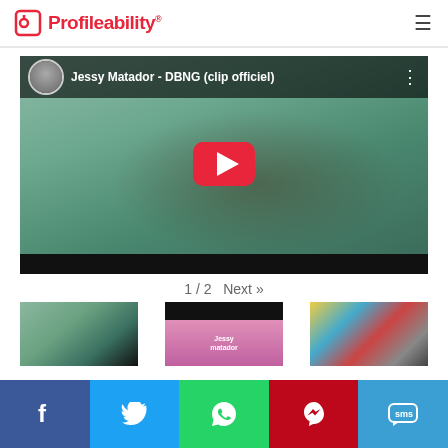Profileability
[Figure (screenshot): YouTube video thumbnail for 'Jessy Matador - DBNG (clip officiel)' showing a man in teal traditional outfit with arms spread, red YouTube play button in center, video header bar with avatar and title]
1 / 2  Next »
[Figure (photo): Three video thumbnail previews side by side: first shows man in teal outfit, second shows pink/dark music thumbnail with 'Jessy Matador' text, third shows colorful outdoor scene]
[Figure (infographic): Social sharing bar with Facebook, Twitter, WhatsApp, Pinterest, SMS icons]